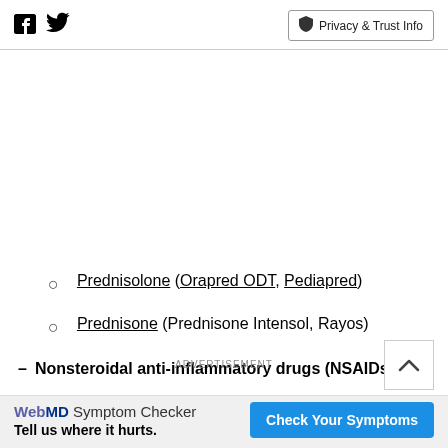Facebook Twitter | Privacy & Trust Info
Prednisolone (Orapred ODT, Pediapred)
Prednisone (Prednisone Intensol, Rayos)
Nonsteroidal anti-inflammatory drugs (NSAIDs)
ADVERTISEMENT
WebMD Symptom Checker
Tell us where it hurts.
Check Your Symptoms